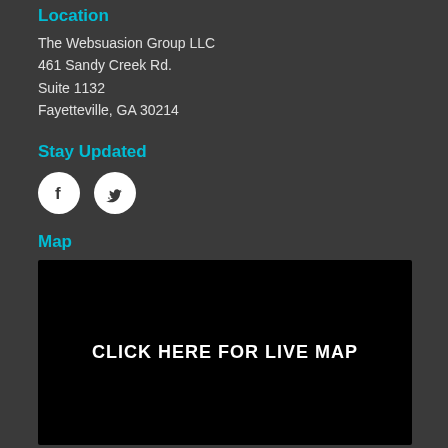Location
The Websuasion Group LLC
461 Sandy Creek Rd.
Suite 1132
Fayetteville, GA 30214
Stay Updated
[Figure (illustration): Two circular social media icons: Facebook (f) and Twitter (bird) on white circles]
Map
[Figure (map): Black box with white bold text reading CLICK HERE FOR LIVE MAP]